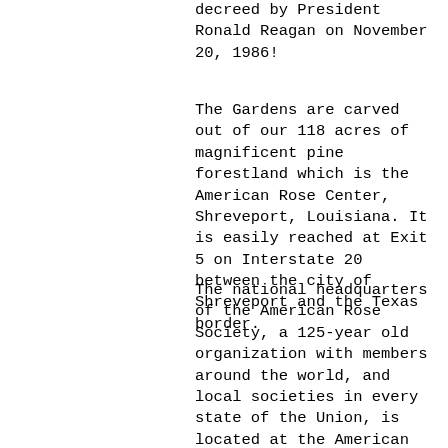decreed by President Ronald Reagan on November 20, 1986!
The Gardens are carved out of our 118 acres of magnificent pine forestland which is the American Rose Center, Shreveport, Louisiana. It is easily reached at Exit 5 on Interstate 20 between the city of Shreveport and the Texas border.
The national headquarters of the American Rose Society, a 125-year old organization with members around the world, and local societies in every state of the Union, is located at the American Rose Center. ARS is the largest single plant society in America. All functions of the society, including publishing and maintaining the gardens, are managed from the historic headquarters at Shreveport,